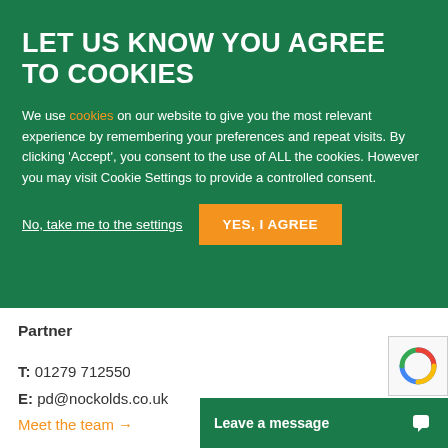LET US KNOW YOU AGREE TO COOKIES
We use cookies on our website to give you the most relevant experience by remembering your preferences and repeat visits. By clicking 'Accept', you consent to the use of ALL the cookies. However you may visit Cookie Settings to provide a controlled consent.
No, take me to the settings
YES, I AGREE
Peter Dodd
Partner
T: 01279 712550
E: pd@nockolds.co.uk
Meet the team →
Leave a message